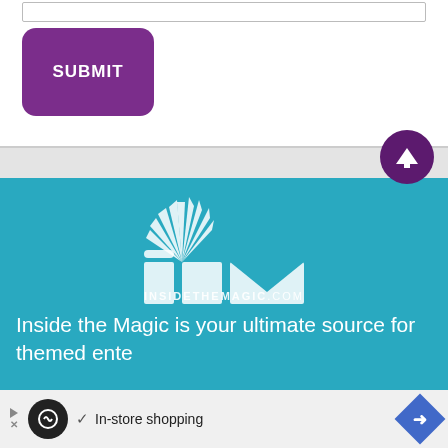[Figure (screenshot): White section with a text input bar at top and a purple SUBMIT button below it]
[Figure (logo): Inside the Magic (iTM) logo on teal background with starburst graphic and INSIDETHEMAGIC.COM wordmark]
Inside the Magic is your ultimate source for themed ente...
[Figure (screenshot): Ad bar at bottom with black circle icon, In-store shopping text, and blue diamond arrow icon]